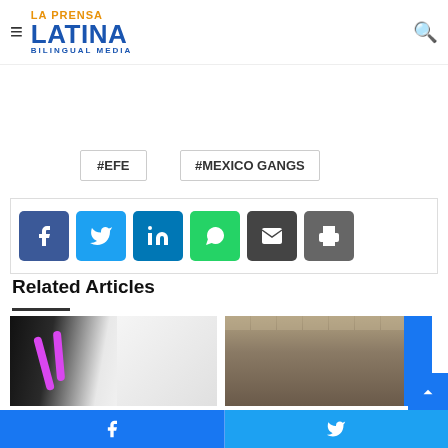La Prensa Latina Bilingual Media
from the outside as it hits rock bottom to improve their life after the massacre. A development agreement for the neighborhood was signed.
#EFE
#MEXICO GANGS
[Figure (infographic): Social share buttons: Facebook (blue), Twitter (light blue), LinkedIn (dark blue), WhatsApp (green), Email (dark gray), Print (gray)]
Related Articles
[Figure (photo): Photo of a car engine compartment with pink/magenta hoses visible]
[Figure (photo): Photo of a large multi-story building exterior]
Facebook share | Twitter share